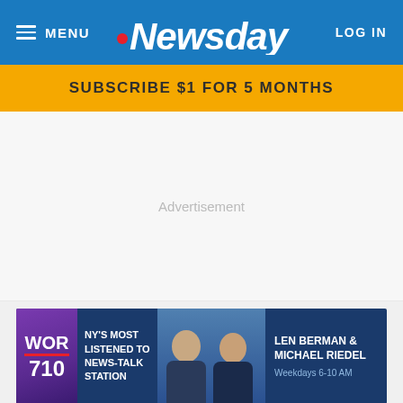MENU | Newsday | LOG IN
SUBSCRIBE $1 FOR 5 MONTHS
Advertisement
[Figure (photo): WOR 710 radio advertisement banner featuring text 'NY's Most Listened To News-Talk Station' and 'Len Berman & Michael Riedel, Weekdays 6-10 AM' with photos of the two hosts against a dark blue background.]